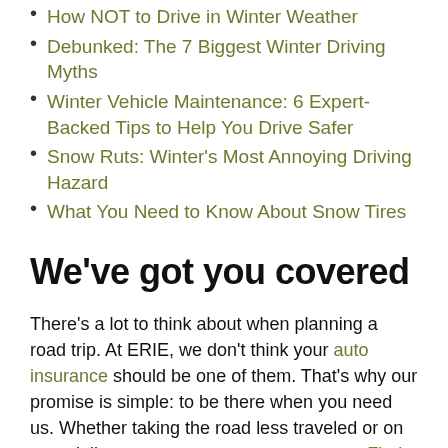How NOT to Drive in Winter Weather
Debunked: The 7 Biggest Winter Driving Myths
Winter Vehicle Maintenance: 6 Expert-Backed Tips to Help You Drive Safer
Snow Ruts: Winter's Most Annoying Driving Hazard
What You Need to Know About Snow Tires
We've got you covered
There's a lot to think about when planning a road trip. At ERIE, we don't think your auto insurance should be one of them. That's why our promise is simple: to be there when you need us. Whether taking the road less traveled or on your daily commute, you can count on us. Find an agent in your neighborhood to learn more